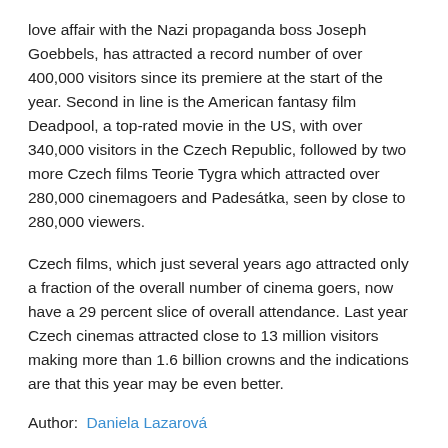love affair with the Nazi propaganda boss Joseph Goebbels, has attracted a record number of over 400,000 visitors since its premiere at the start of the year. Second in line is the American fantasy film Deadpool, a top-rated movie in the US, with over 340,000 visitors in the Czech Republic, followed by two more Czech films Teorie Tygra which attracted over 280,000 cinemagoers and Padesátka, seen by close to 280,000 viewers.
Czech films, which just several years ago attracted only a fraction of the overall number of cinema goers, now have a 29 percent slice of overall attendance. Last year Czech cinemas attracted close to 13 million visitors making more than 1.6 billion crowns and the indications are that this year may be even better.
Author: Daniela Lazarová